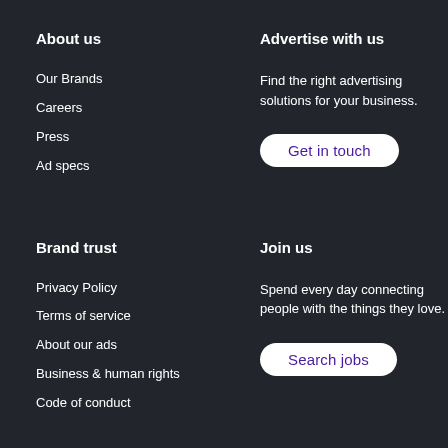About us
Our Brands
Careers
Press
Ad specs
Advertise with us
Find the right advertising solutions for your business.
Get in touch
Brand trust
Privacy Policy
Terms of service
About our ads
Business & human rights
Code of conduct
Join us
Spend every day connecting people with the things they love.
Search jobs
Contact us
AOL member help